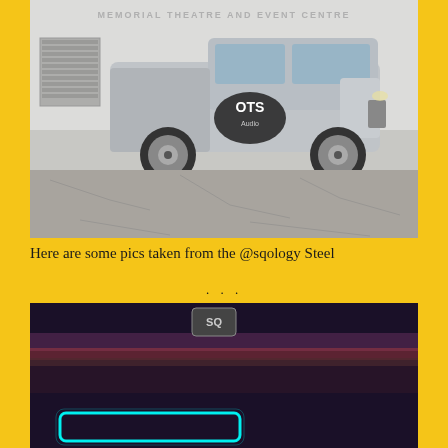[Figure (photo): A silver GMC pickup truck with 'OTS' logo decal on the door, parked on a cracked asphalt lot in front of a building labeled 'MEMORIAL THEATRE AND EVENT CENTRE'. A person is visible behind the truck.]
Here are some pics taken from the @sqology Steel ...
[Figure (photo): A dark, blurry photo showing automotive lighting with cyan/teal neon-style lights at the bottom and a small square logo or badge visible at the top. The background has purple and red light streaks.]